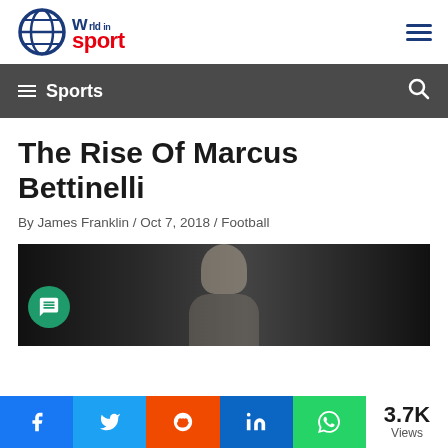[Figure (logo): World in Sport logo with globe icon, 'world' in blue bold, 'in' superscript blue, 'sport' in red bold]
Sports
The Rise Of Marcus Bettinelli
By James Franklin / Oct 7, 2018 / Football
[Figure (photo): Photo of Marcus Bettinelli, a man with short hair looking forward, dark blurred background. A green chat bubble icon overlaid bottom-left.]
3.7K Views